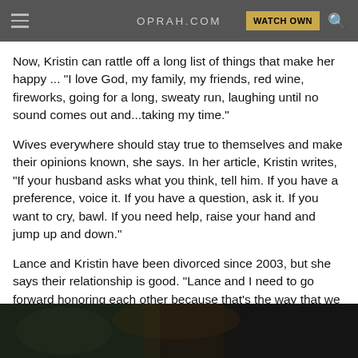OPRAH.COM  WATCH OWN
Now, Kristin can rattle off a long list of things that make her happy ... "I love God, my family, my friends, red wine, fireworks, going for a long, sweaty run, laughing until no sound comes out and...taking my time."
Wives everywhere should stay true to themselves and make their opinions known, she says. In her article, Kristin writes, "If your husband asks what you think, tell him. If you have a preference, voice it. If you have a question, ask it. If you want to cry, bawl. If you need help, raise your hand and jump up and down."
Lance and Kristin have been divorced since 2003, but she says their relationship is good. "Lance and I need to go forward honoring each other because that's the way that we can still show our children that love is lasting and love is unconditional."
[Figure (photo): Dark photograph strip at the bottom of the page showing a dimly lit scene]